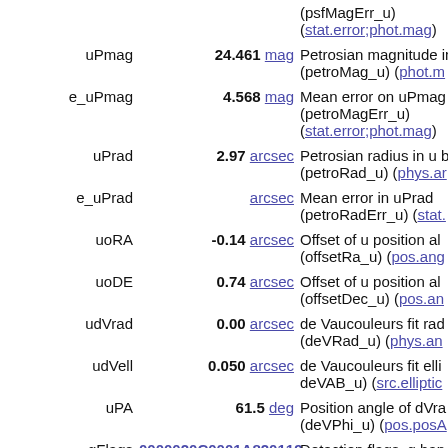| Name | Value | Description |
| --- | --- | --- |
|  |  | (psfMagErr_u) (stat.error;phot.mag) |
| uPmag | 24.461 mag | Petrosian magnitude in u (petroMag_u) (phot.m… |
| e_uPmag | 4.568 mag | Mean error on uPmag (petroMagErr_u) (stat.error;phot.mag) |
| uPrad | 2.97 arcsec | Petrosian radius in u b (petroRad_u) (phys.ar… |
| e_uPrad | arcsec | Mean error in uPrad (petroRadErr_u) (stat.… |
| uoRA | -0.14 arcsec | Offset of u position al (offsetRa_u) (pos.ang… |
| uoDE | 0.74 arcsec | Offset of u position al (offsetDec_u) (pos.an… |
| udVrad | 0.00 arcsec | de Vaucouleurs fit rad (deVRad_u) (phys.an… |
| udVell | 0.050 arcsec | de Vaucouleurs fit elli deVAB_u) (src.elliptic… |
| uPA | 61.5 deg | Position angle of dVra (deVPhi_u) (pos.posA… |
| gFlags | 0000020C0001A820119 | Detection flags, g ban (Note 2) (meta.cod… |